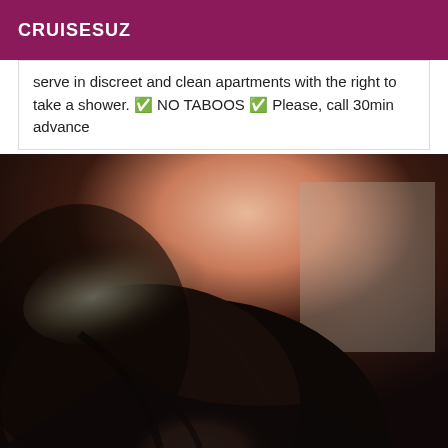CRUISESUZ
serve in discreet and clean apartments with the right to take a shower. ✅ NO TABOOS ✅ Please, call 30min advance
[Figure (photo): A close-up photo of a person with dark hair, taken from behind/above, with bright light in the background and what appears to be a room with a mirror or frame visible.]